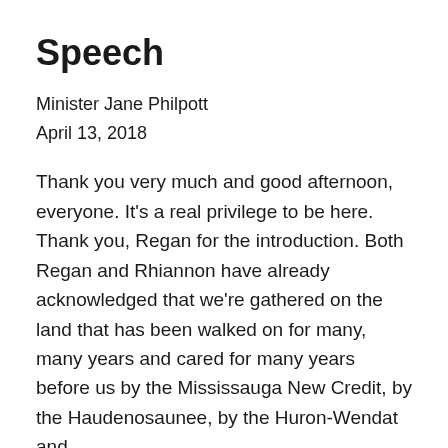Speech
Minister Jane Philpott
April 13, 2018
Thank you very much and good afternoon, everyone. It’s a real privilege to be here. Thank you, Regan for the introduction. Both Regan and Rhiannon have already acknowledged that we’re gathered on the land that has been walked on for many, many years and cared for many years before us by the Mississauga New Credit, by the Haudenosaunee, by the Huron-Wendat and